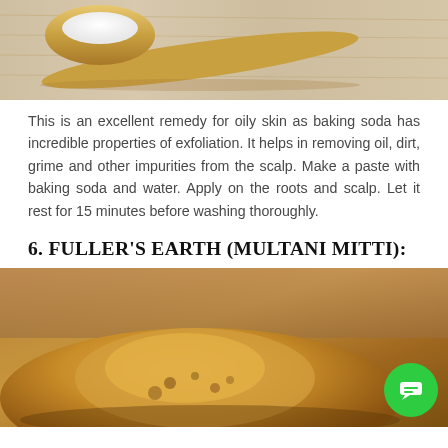[Figure (photo): Photo of a wooden spoon with white powder (baking soda) on a wooden surface]
This is an excellent remedy for oily skin as baking soda has incredible properties of exfoliation. It helps in removing oil, dirt, grime and other impurities from the scalp. Make a paste with baking soda and water. Apply on the roots and scalp. Let it rest for 15 minutes before washing thoroughly.
6. FULLER'S EARTH (MULTANI MITTI):
[Figure (photo): Photo of Fuller's Earth (Multani Mitti) - yellowish-orange clay/powder mound with a chat button overlay]